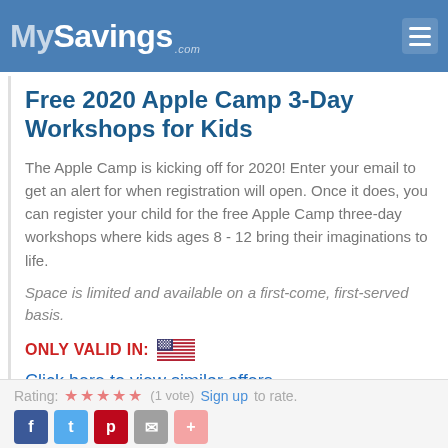MySavings.com
Free 2020 Apple Camp 3-Day Workshops for Kids
The Apple Camp is kicking off for 2020! Enter your email to get an alert for when registration will open. Once it does, you can register your child for the free Apple Camp three-day workshops where kids ages 8 - 12 bring their imaginations to life.
Space is limited and available on a first-come, first-served basis.
ONLY VALID IN: 🇺🇸
Click here to view similar offers.
Rating: ★★★★★ (1 vote) Sign up to rate.